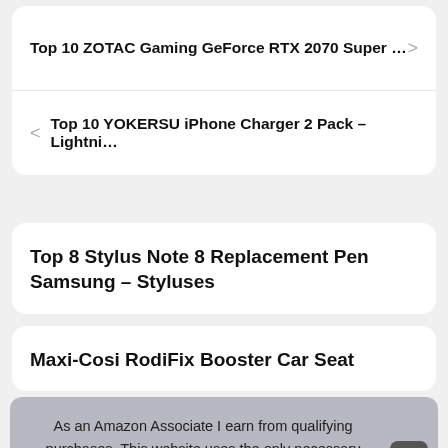Top 10 ZOTAC Gaming GeForce RTX 2070 Super …
Top 10 YOKERSU iPhone Charger 2 Pack – Lightni…
Top 8 Stylus Note 8 Replacement Pen Samsung – Styluses
Maxi-Cosi RodiFix Booster Car Seat
As an Amazon Associate I earn from qualifying purchases. This website uses the only necessary cookies to ensure you get the best experience on our website. More information
Top 10 CZUR Book Scanner – Document Scanners